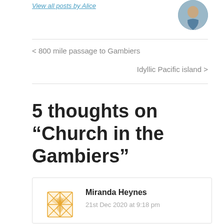View all posts by Alice
[Figure (photo): Circular avatar photo of a woman outdoors, wearing a blue shirt]
< 800 mile passage to Gambiers
Idyllic Pacific island >
5 thoughts on “Church in the Gambiers”
[Figure (illustration): Golden decorative geometric pattern avatar for Miranda Heynes]
Miranda Heynes
21st Dec 2020 at 9:18 pm